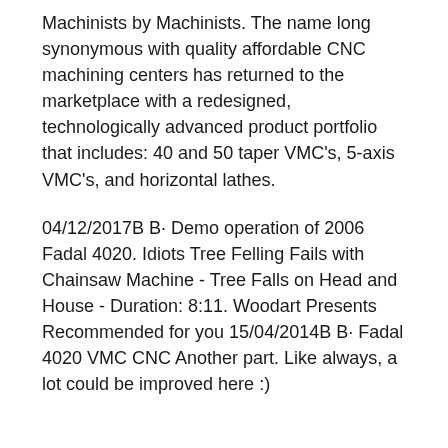Machinists by Machinists. The name long synonymous with quality affordable CNC machining centers has returned to the marketplace with a redesigned, technologically advanced product portfolio that includes: 40 and 50 taper VMC's, 5-axis VMC's, and horizontal lathes.
04/12/2017B B· Demo operation of 2006 Fadal 4020. Idiots Tree Felling Fails with Chainsaw Machine - Tree Falls on Head and House - Duration: 8:11. Woodart Presents Recommended for you 15/04/2014B B· Fadal 4020 VMC CNC Another part. Like always, a lot could be improved here :)